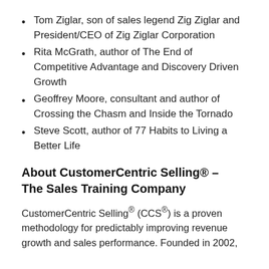Tom Ziglar, son of sales legend Zig Ziglar and President/CEO of Zig Ziglar Corporation
Rita McGrath, author of The End of Competitive Advantage and Discovery Driven Growth
Geoffrey Moore, consultant and author of Crossing the Chasm and Inside the Tornado
Steve Scott, author of 77 Habits to Living a Better Life
About CustomerCentric Selling® – The Sales Training Company
CustomerCentric Selling® (CCS®) is a proven methodology for predictably improving revenue growth and sales performance. Founded in 2002,